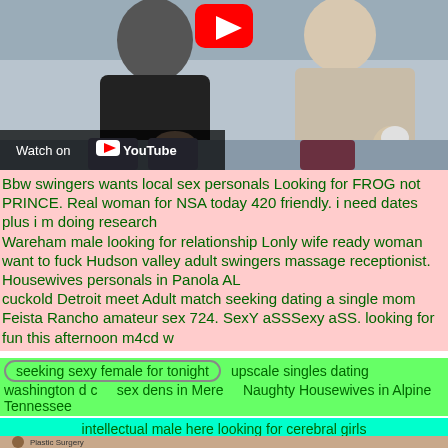[Figure (screenshot): YouTube video thumbnail showing two people seated on a couch, with a YouTube play button icon visible and a 'Watch on YouTube' overlay in the lower left.]
Bbw swingers wants local sex personals Looking for FROG not PRINCE. Real woman for NSA today 420 friendly. i need dates plus i m doing research
Wareham male looking for relationship Lonly wife ready woman want to fuck Hudson valley adult swingers massage receptionist. Housewives personals in Panola AL
cuckold Detroit meet Adult match seeking dating a single mom Feista Rancho amateur sex 724. SexY aSSSexy aSS. looking for fun this afternoon m4cd w
seeking sexy female for tonight   upscale singles dating
washington d c    sex dens in Mere    Naughty Housewives in Alpine Tennessee
intellectual male here looking for cerebral girls
[Figure (screenshot): Bottom portion of a YouTube video thumbnail showing 'Plastic Surgery' text with a circular avatar.]